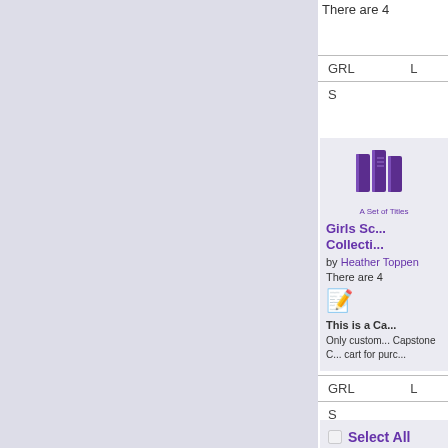There are 4
| GRL | L |
| --- | --- |
| S |  |
[Figure (illustration): Purple stacked books icon labeled 'A Set of Titles']
Girls Sc... Collecti...
by Heather Toppen
There are 4
This is a Ca...
Only custom... Capstone C... cart for purc...
| GRL | L |
| --- | --- |
| S |  |
Select All